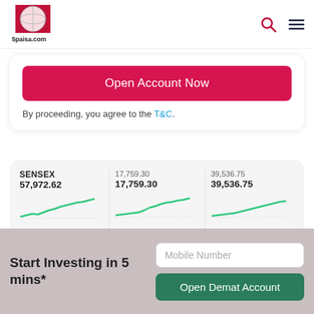5paisa.com header with logo, search and menu icons
Open Account Now
By proceeding, you agree to the T&C.
[Figure (screenshot): Three mini line charts for SENSEX, 17,759.30, and 39,536.75 showing upward trending green lines]
SENSEX 57,972.62 -861.25 (-1.46%)
17,759.30 17,759.30 446.40 (2.58%)
39,536.75 39,536.75 1,260.05 (3.29%)
Start Investing in 5 mins*
Mobile Number
Open Demat Account